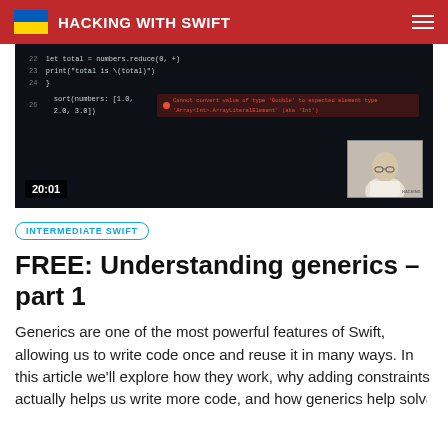HACKING WITH SWIFT
[Figure (screenshot): Video thumbnail showing Swift code editor with an error message and a picture-in-picture of a presenter. Timer shows 20:01.]
INTERMEDIATE SWIFT
FREE: Understanding generics – part 1
Generics are one of the most powerful features of Swift, allowing us to write code once and reuse it in many ways. In this article we'll explore how they work, why adding constraints actually helps us write more code, and how generics help solve